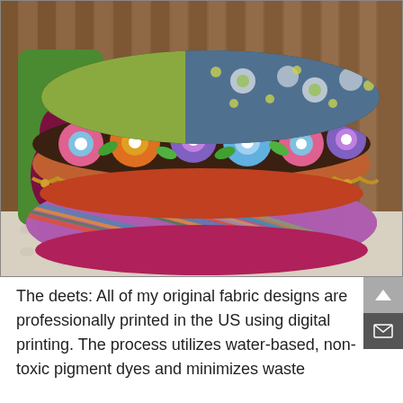[Figure (photo): A stack of three decorative fabric pillows. Top pillow: dark olive/army green with a patchwork of light green and floral teal/blue fabric. Middle pillow: colorful retro floral print (purple, blue, orange flowers on dark background) with gold/yellow crochet trim and orange/red back. Bottom pillow: multicolor diagonal stripes (purple, teal, orange, green) with magenta/pink back. Behind the pillows is a green felt pillow with a maroon teardrop shape design. All sit on a white crocheted or knit surface with wooden slat backdrop.]
The deets: All of my original fabric designs are professionally printed in the US using digital printing. The process utilizes water-based, non-toxic pigment dyes and minimizes waste